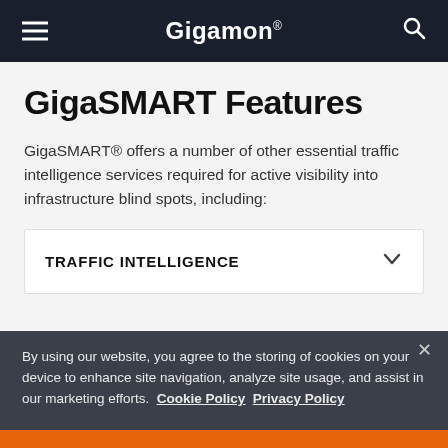Gigamon
GigaSMART Features
GigaSMART® offers a number of other essential traffic intelligence services required for active visibility into infrastructure blind spots, including:
TRAFFIC INTELLIGENCE
By using our website, you agree to the storing of cookies on your device to enhance site navigation, analyze site usage, and assist in our marketing efforts. Cookie Policy Privacy Policy